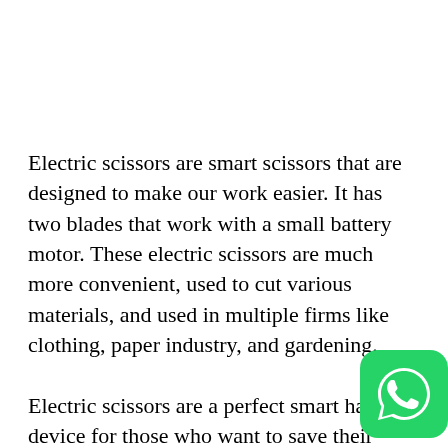Electric scissors are smart scissors that are designed to make our work easier. It has two blades that work with a small battery motor. These electric scissors are much more convenient, used to cut various materials, and used in multiple firms like clothing, paper industry, and gardening.
Electric scissors are a perfect smart handy device for those who want to save their time. Depending on your requirement, these sci are available in both different corded and cordless forms.
[Figure (logo): WhatsApp logo icon — green rounded square with white phone handset inside a speech bubble]